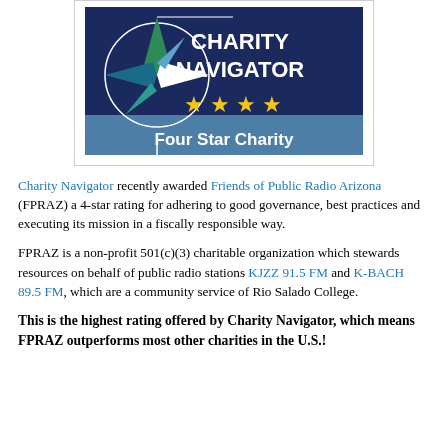[Figure (logo): Charity Navigator Four Star Charity badge with compass rose logo, dark navy background with text 'CHARITY NAVIGATOR' and four gold stars with text 'Four Star Charity']
Charity Navigator recently awarded Friends of Public Radio Arizona (FPRAZ) a 4-star rating for adhering to good governance, best practices and executing its mission in a fiscally responsible way.
FPRAZ is a non-profit 501(c)(3) charitable organization which stewards resources on behalf of public radio stations KJZZ 91.5 FM and K-BACH 89.5 FM, which are a community service of Rio Salado College.
This is the highest rating offered by Charity Navigator, which means FPRAZ outperforms most other charities in the U.S.!